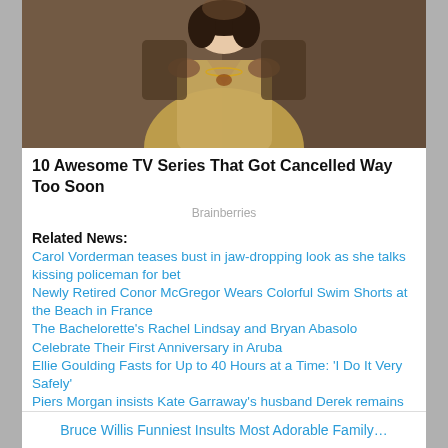[Figure (photo): Two figures in period costume, woman in gold/cream dress with man behind her placing hands on her shoulders]
10 Awesome TV Series That Got Cancelled Way Too Soon
Brainberries
Related News:
Carol Vorderman teases bust in jaw-dropping look as she talks kissing policeman for bet
Newly Retired Conor McGregor Wears Colorful Swim Shorts at the Beach in France
The Bachelorette's Rachel Lindsay and Bryan Abasolo Celebrate Their First Anniversary in Aruba
Ellie Goulding Fasts for Up to 40 Hours at a Time: 'I Do It Very Safely'
Piers Morgan insists Kate Garraway's husband Derek remains 'critical'
Bruce Willis Funniest Insults Most Adorable Family…